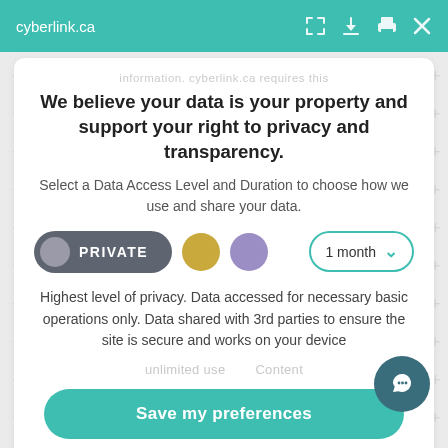cyberlink.ca
We believe your data is your property and support your right to privacy and transparency.
Select a Data Access Level and Duration to choose how we use and share your data.
[Figure (infographic): Privacy level selector showing PRIVATE toggle button (dark gray with circle icon), two colored dots (gold and purple), and a '1 month' dropdown selector with teal border.]
Highest level of privacy. Data accessed for necessary basic operations only. Data shared with 3rd parties to ensure the site is secure and works on your device
Save my preferences
Customize
Privacy policy